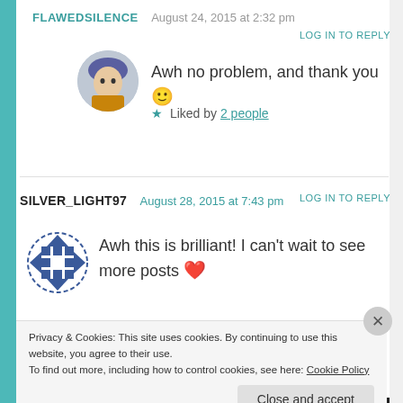FLAWEDSILENCE  August 24, 2015 at 2:32 pm
LOG IN TO REPLY
Awh no problem, and thank you 🙂
★ Liked by 2 people
SILVER_LIGHT97  August 28, 2015 at 7:43 pm
LOG IN TO REPLY
Awh this is brilliant! I can't wait to see more posts ❤
Privacy & Cookies: This site uses cookies. By continuing to use this website, you agree to their use.
To find out more, including how to control cookies, see here: Cookie Policy
Close and accept